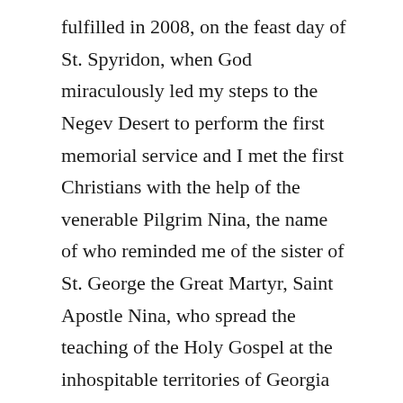fulfilled in 2008, on the feast day of St. Spyridon, when God miraculously led my steps to the Negev Desert to perform the first memorial service and I met the first Christians with the help of the venerable Pilgrim Nina, the name of who reminded me of the sister of St. George the Great Martyr, Saint Apostle Nina, who spread the teaching of the Holy Gospel at the inhospitable territories of Georgia as it